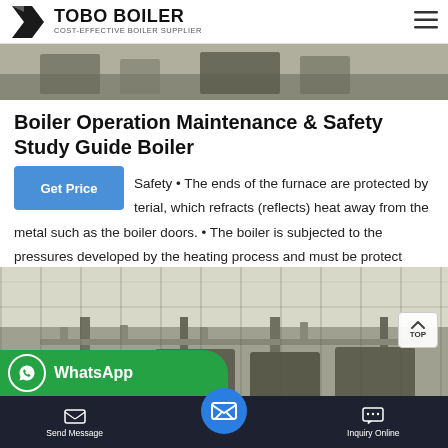TOBO BOILER — COST-EFFECTIVE BOILER SUPPLIER
[Figure (photo): Industrial boiler room interior viewed from low angle, showing equipment and piping]
Boiler Operation Maintenance & Safety Study Guide Boiler
Safety • The ends of the furnace are protected by material, which refracts (reflects) heat away from the metal such as the boiler doors. • The boiler is subjected to the pressures developed by the heating process and must be protect
[Figure (photo): Industrial boiler room with multiple boiler units and pipes, ceiling mounted equipment visible]
[Figure (screenshot): WhatsApp contact bar overlay (green), and bottom navigation bar with Send Message and Inquiry Online buttons]